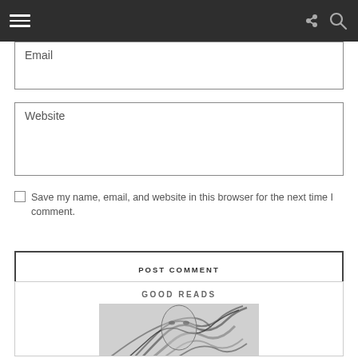Email
Website
Save my name, email, and website in this browser for the next time I comment.
POST COMMENT
GOOD READS
[Figure (illustration): Black and white illustrated book cover with flowing hair imagery]